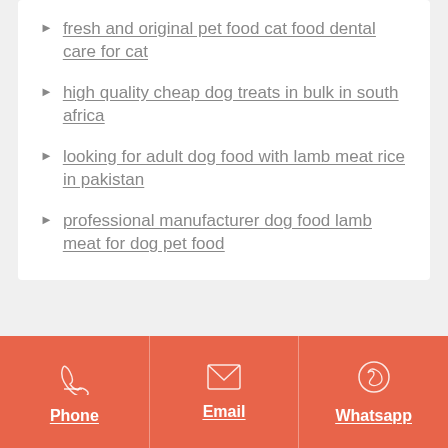fresh and original pet food cat food dental care for cat
high quality cheap dog treats in bulk in south africa
looking for adult dog food with lamb meat rice in pakistan
professional manufacturer dog food lamb meat for dog pet food
Phone  Email  Whatsapp